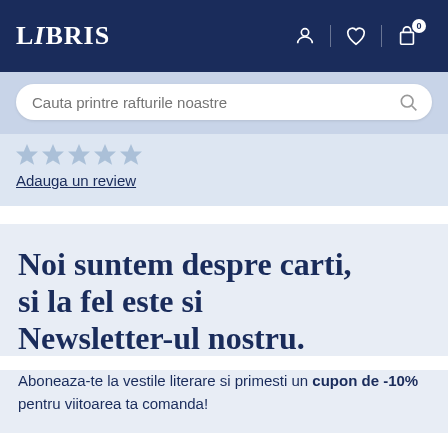LIBRIS
[Figure (screenshot): Search bar with placeholder text 'Cauta printre rafturile noastre' and a search icon]
Adauga un review
Noi suntem despre carti, si la fel este si Newsletter-ul nostru.
Aboneaza-te la vestile literare si primesti un cupon de -10% pentru viitoarea ta comanda!